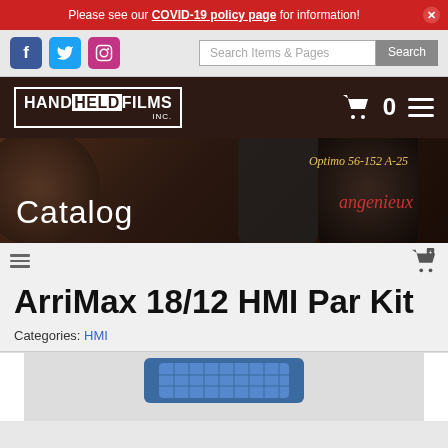Please see our COVID-19 policy page for information!
[Figure (screenshot): Navigation bar with Facebook, Twitter, Instagram icons and a Search Items & Pages search box with Search button]
[Figure (logo): HandHeld Films Inc. logo on dark brown background with shopping cart icon showing 0 and hamburger menu]
[Figure (photo): Hero banner showing camera lenses with Catalog text overlay and Angenieux Optimo 56-152 A-25 lens text]
ArriMax 18/12 HMI Par Kit
Categories: HMI
[Figure (photo): Partial product photo of ArriMax 18/12 HMI Par Kit showing a blue lighting fixture]